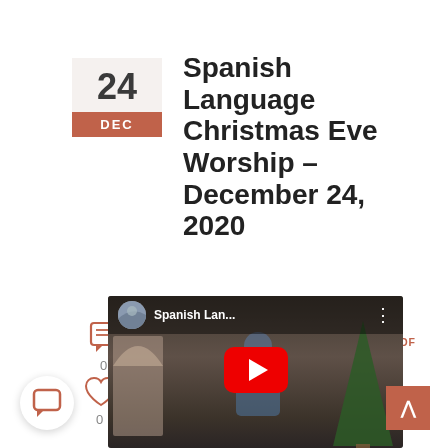Spanish Language Christmas Eve Worship – December 24, 2020
POSTED BY CORAL GABLES CONGREGATIONAL UNITED CHURCH OF CHRIST | CATEGORIES: SPANISH MINISTRY, WORSHIP
[Figure (screenshot): YouTube video thumbnail showing Spanish Language worship service with a red play button in the center. Video title reads 'Spanish Lan...' with a church avatar thumbnail and three-dot menu icon.]